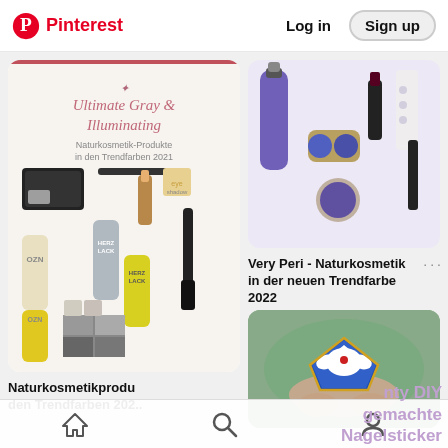Pinterest  Log in  Sign up
[Figure (photo): Collage of natural cosmetics products in gray and yellow colors. Text reads 'Ultimate Gray & Illuminating - Naturkosmetik-Produkte in den Trendfarben 2021'. Products include nail polishes (OZN, Herzlack), eyeshadow palette, lipstick, mascara.]
Naturkosmetikprodu den Trendfarben 202..
[Figure (photo): Flat lay of natural cosmetics products in purple and dark colors on marble background: a purple lotion bottle, lipstick, eyeshadow compact in blue/purple, mascara tube.]
Very Peri - Naturkosmetik in der neuen Trendfarbe 2022
[Figure (photo): Close-up photo of a small enamel pin/badge featuring a cartoon bird character with blue and red colors, held between fingers with green background.]
nty DIY gemachte Nagelsticker